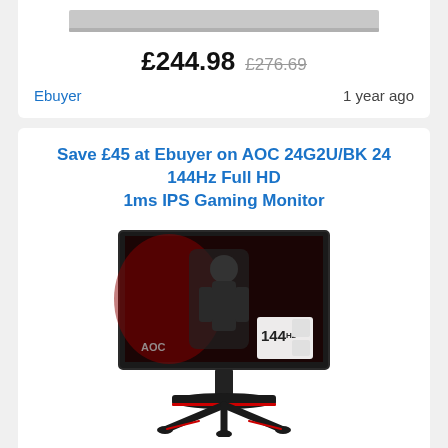[Figure (photo): Partial view of a laptop or monitor product image at the top of the page (cropped)]
£244.98  £276.69
Ebuyer    1 year ago
Save £45 at Ebuyer on AOC 24G2U/BK 24 144Hz Full HD 1ms IPS Gaming Monitor
[Figure (photo): AOC 24G2U/BK gaming monitor with red and black design, showing a warrior character on screen and 144Hz badge]
£149.99  £194.99